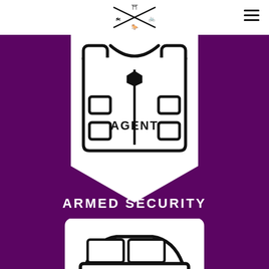[Figure (logo): Brand logo with crossed motifs (motorcycle, pagoda, bicycle, horse) in black on white background]
[Figure (illustration): Icon of a tactical body armor/vest with shield badge and text AGENT on a white pentagon-shaped background on purple background]
ARMED SECURITY
[Figure (illustration): Icon of a security patrol vehicle (SUV/truck) with a shield badge, white on purple background, partially visible at bottom]